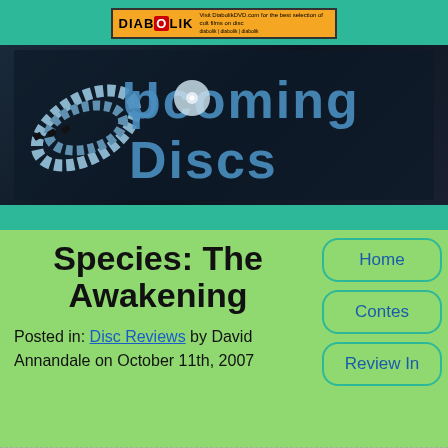[Figure (logo): Diabolik DVD banner advertisement with orange background and skull image]
[Figure (logo): Upcoming Discs logo with film reel and DVD disc imagery on dark background]
Species: The Awakening
Posted in: Disc Reviews by David Annandale on October 11th, 2007
Home
Contes
Review In